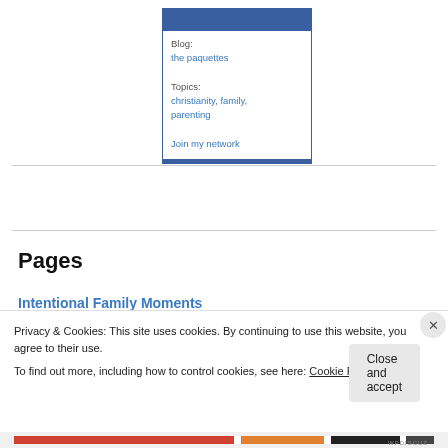[Figure (other): Blog profile card with blue header bar, showing blog name 'the paquettes', topics: christianity, family, parenting, and a 'Join my network' link]
Pages
Intentional Family Moments
a heart for missions
Privacy & Cookies: This site uses cookies. By continuing to use this website, you agree to their use.
To find out more, including how to control cookies, see here: Cookie Policy
Close and accept